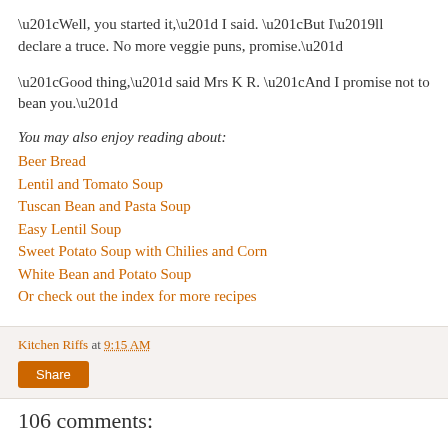“Well, you started it,” I said. “But I’ll declare a truce. No more veggie puns, promise.”
“Good thing,” said Mrs K R. “And I promise not to bean you.”
You may also enjoy reading about:
Beer Bread
Lentil and Tomato Soup
Tuscan Bean and Pasta Soup
Easy Lentil Soup
Sweet Potato Soup with Chilies and Corn
White Bean and Potato Soup
Or check out the index for more recipes
Kitchen Riffs at 9:15 AM
106 comments: